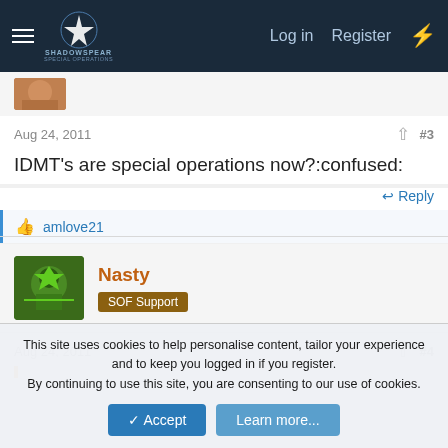ShadowSpear Special Operations — Log in | Register
Aug 24, 2011  #3
IDMT's are special operations now?:confused:
Reply
amlove21
Nasty
SOF Support
Aug 24, 2011  #4
This site uses cookies to help personalise content, tailor your experience and to keep you logged in if you register.
By continuing to use this site, you are consenting to our use of cookies.